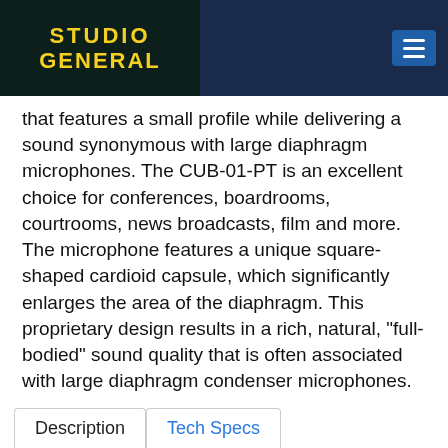[Figure (logo): Studio General logo with yellow text on dark background]
that features a small profile while delivering a sound synonymous with large diaphragm microphones. The CUB-01-PT is an excellent choice for conferences, boardrooms, courtrooms, news broadcasts, film and more. The microphone features a unique square-shaped cardioid capsule, which significantly enlarges the area of the diaphragm. This proprietary design results in a rich, natural, "full-bodied" sound quality that is often associated with large diaphragm condenser microphones.
Description | Tech Specs
The CUB-01 is easily installed into any surface with minimal effort and its miniature profile renders the microphone inconspicuous. The wide frequency